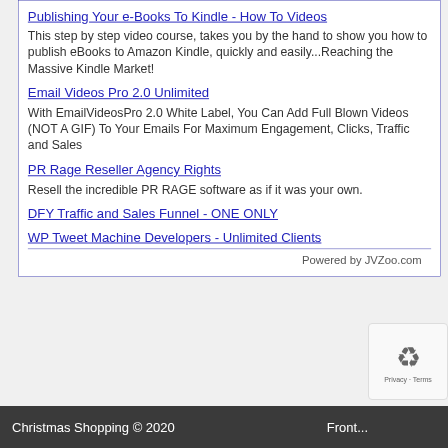Publishing Your e-Books To Kindle - How To Videos
This step by step video course, takes you by the hand to show you how to publish eBooks to Amazon Kindle, quickly and easily...Reaching the Massive Kindle Market!
Email Videos Pro 2.0 Unlimited
With EmailVideosPro 2.0 White Label, You Can Add Full Blown Videos (NOT A GIF) To Your Emails For Maximum Engagement, Clicks, Traffic and Sales
PR Rage Reseller Agency Rights
Resell the incredible PR RAGE software as if it was your own.
DFY Traffic and Sales Funnel - ONE ONLY
WP Tweet Machine Developers - Unlimited Clients
Powered by JVZoo.com
Christmas Shopping © 2020   Front...